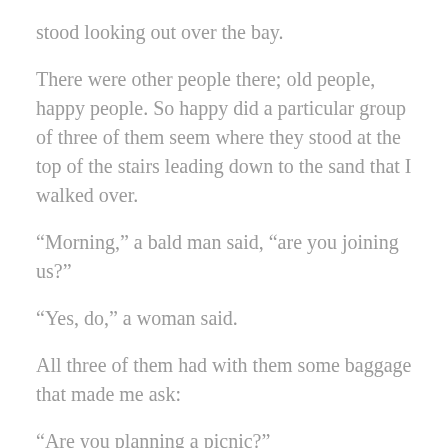stood looking out over the bay.
There were other people there; old people, happy people. So happy did a particular group of three of them seem where they stood at the top of the stairs leading down to the sand that I walked over.
“Morning,” a bald man said, “are you joining us?”
“Yes, do,” a woman said.
All three of them had with them some baggage that made me ask:
“Are you planning a picnic?”
“No, we’re going swimming, of course,” the bald man said.